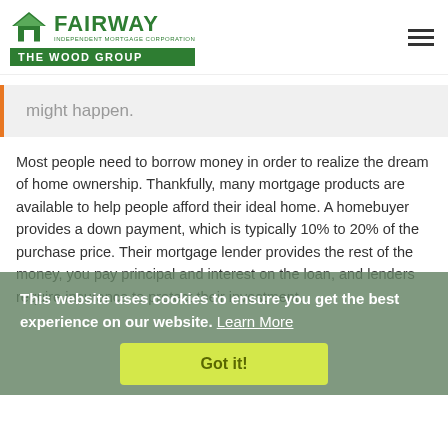[Figure (logo): Fairway Independent Mortgage Corporation - The Wood Group logo with green house icon and green banner]
might happen.
Most people need to borrow money in order to realize the dream of home ownership. Thankfully, many mortgage products are available to help people afford their ideal home. A homebuyer provides a down payment, which is typically 10% to 20% of the purchase price. Their mortgage lender provides the rest of the money, you pay principal and interest on the loan, and lenders require insurance to protect their investment.
This website uses cookies to ensure you get the best experience on our website. Learn More
Got it!
A homeowner can have more than one mortgage on a property in certain situations. They may obtain two loans at the